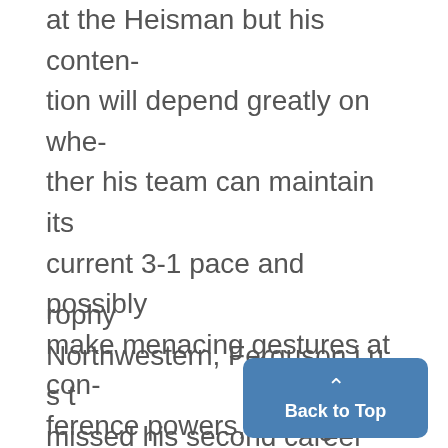at the Heisman but his contention will depend greatly on whether his team can maintain its current 3-1 pace and possibly make menacing gestures at conference powers, Michigan and Ohio State.
In last Saturday's game with
rophy
Northwestern, Ferguson j u s t missed his second career 200 yard game as he finished with 197. This enabled him to climb